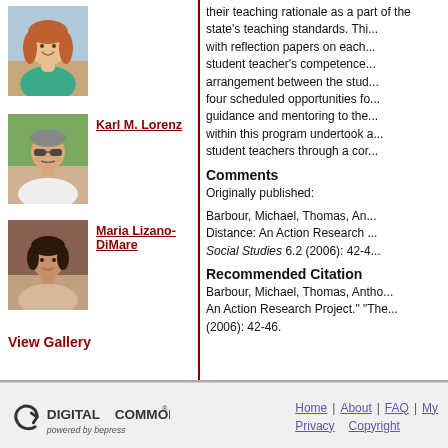[Figure (photo): Headshot of a woman with long hair, smiling, wearing a teal top]
[Figure (photo): Headshot of Karl M. Lorenz, a man wearing sunglasses and a white shirt outdoors]
Karl M. Lorenz
[Figure (photo): Headshot of Maria Lizano-DiMare, a woman with short dark hair]
Maria Lizano-DiMare
View Gallery
their teaching rationale as a part of the state's teaching standards. Thi... with reflection papers on each... student teacher's competence... arrangement between the stu... four scheduled opportunities fo... guidance and mentoring to the... within this program undertook a... student teachers through a co...
Comments
Originally published:
Barbour, Michael, Thomas, An... Distance: An Action Research ... Social Studies 6.2 (2006): 42-4...
Recommended Citation
Barbour, Michael, Thomas, Antho... An Action Research Project." "The... (2006): 42-46.
[Figure (logo): Digital Commons powered by bepress logo]
Home | About | FAQ | M... Privacy   Copyright